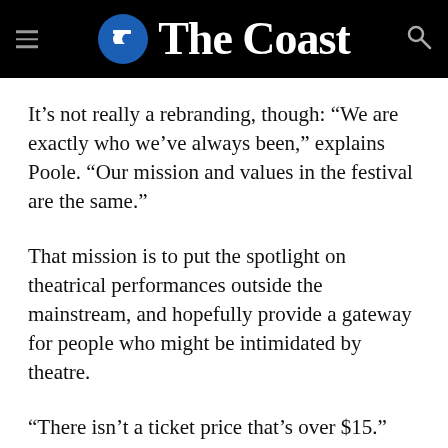The Coast
It’s not really a rebranding, though: “We are exactly who we’ve always been,” explains Poole. “Our mission and values in the festival are the same.”
That mission is to put the spotlight on theatrical performances outside the mainstream, and hopefully provide a gateway for people who might be intimidated by theatre.
“There isn’t a ticket price that’s over $15.”
This year’s line-up is made up of more than 50